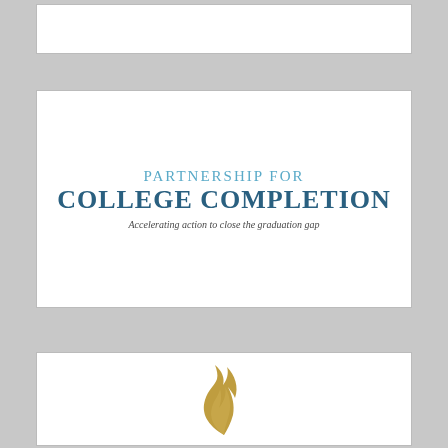[Figure (other): Empty white card/box at top of page]
[Figure (logo): Partnership for College Completion logo with text 'PARTNERSHIP FOR COLLEGE COMPLETION' and tagline 'Accelerating action to close the graduation gap']
[Figure (logo): Partial view of a gold flame logo at bottom of page]